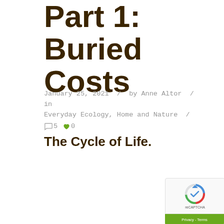Part 1: Buried Costs
January 25, 2021 / by Anne Altor / in Everyday Ecology, Home and Nature / 💬 5 ❤ 0
The Cycle of Life.
[Figure (other): reCAPTCHA widget box with logo and Privacy - Terms link]